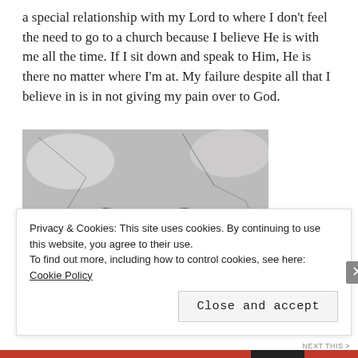a special relationship with my Lord to where I don't feel the need to go to a church because I believe He is with me all the time. If I sit down and speak to Him, He is there no matter where I'm at. My failure despite all that I believe in is in not giving my pain over to God.
[Figure (photo): A cracked red heart shape on a dry cracked earth/stone background, in black and white with the heart in vivid red.]
Privacy & Cookies: This site uses cookies. By continuing to use this website, you agree to their use. To find out more, including how to control cookies, see here: Cookie Policy
Close and accept